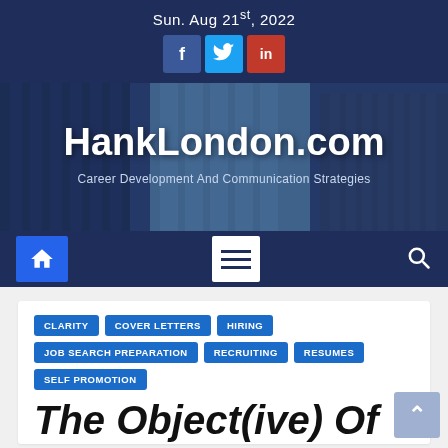Sun. Aug 21st, 2022
[Figure (logo): Social media icons: Facebook (f), Twitter bird, LinkedIn (in)]
HankLondon.com
Career Development And Communication Strategies
[Figure (infographic): Navigation bar with home icon, hamburger menu, and search icon]
CLARITY
COVER LETTERS
HIRING
JOB SEARCH PREPARATION
RECRUITING
RESUMES
SELF PROMOTION
The Object(ive) Of